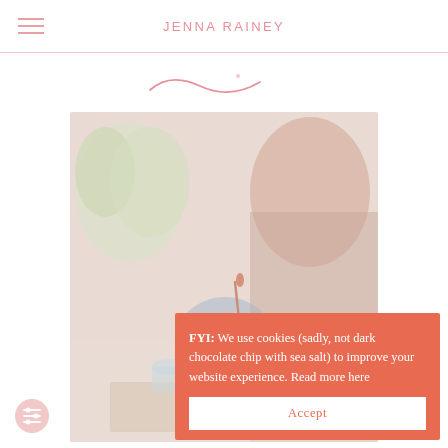JENNA RAINEY
[Figure (illustration): Decorative swash/underline illustration in pink below the header]
[Figure (photo): Photo of a person (artist) working at a desk with watercolor paints, brushes, and plants visible]
FYI: We use cookies (sadly, not dark chocolate chip with sea salt) to improve your website experience. Read more here
Accept